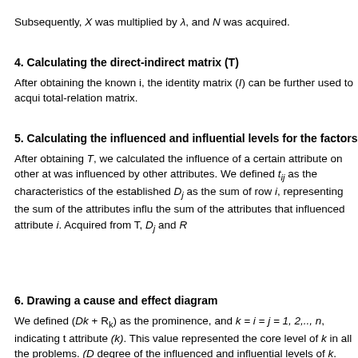Subsequently, X was multiplied by λ, and N was acquired.
4. Calculating the direct-indirect matrix (T)
After obtaining the known i, the identity matrix (I) can be further used to acquire the total-relation matrix.
5. Calculating the influenced and influential levels for the factors
After obtaining T, we calculated the influence of a certain attribute on other attributes and was influenced by other attributes. We defined t_ij as the characteristics of the T matrix and established D_j as the sum of row i, representing the sum of the attributes influenced by i, and R the sum of the attributes that influenced attribute i. Acquired from T, D_j and R...
6. Drawing a cause and effect diagram
We defined (Dk + R_k) as the prominence, and k = i = j = 1, 2,.., n, indicating the attribute (k). This value represented the core level of k in all the problems. (D... degree of the influenced and influential levels of k. This value indicated the ca... positive, k was categorised as the cause. Conversely, if the value was negati... diagram employed (Dk+Rk) as the horizontal axis and (Dk -Rk) as the vertica... simplify a complex causal relationship to a comprehensible visual structure. B... decision-makers can determine a specific attribute's influenced and influentia... cause or an effect. Appropriate decisions can therefore be formulated to rea...